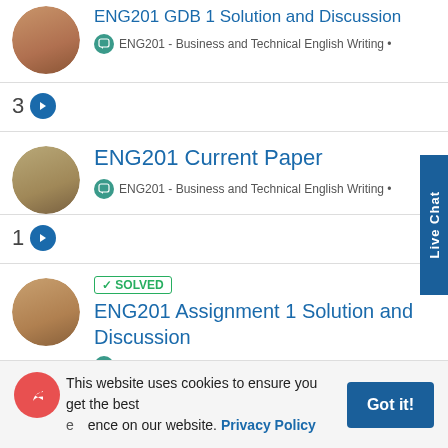ENG201 GDB 1 Solution and Discussion
ENG201 - Business and Technical English Writing •
3
ENG201 Current Paper
ENG201 - Business and Technical English Writing •
1
SOLVED ENG201 Assignment 1 Solution and Discussion
ENG201 - Business and Technical English Writing •
2
/A
This website uses cookies to ensure you get the best experience on our website. Privacy Policy
Got it!